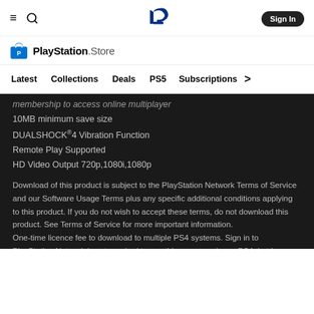PlayStation Store navigation header with hamburger menu, search icon, PlayStation logo, and Sign In button
[Figure (logo): PlayStation Store logo with shopping bag icon and text 'PlayStation.Store']
Latest | Collections | Deals | PS5 | Subscriptions >
membership to access online multiplayer
10MB minimum save size
DUALSHOCK®4 Vibration Function
Remote Play Supported
HD Video Output 720p,1080i,1080p
Download of this product is subject to the PlayStation Network Terms of Service and our Software Usage Terms plus any specific additional conditions applying to this product. If you do not wish to accept these terms, do not download this product. See Terms of Service for more important information.
One-time licence fee to download to multiple PS4 systems. Sign in to PlayStation Network is not required to use this on your primary PS4, but is required for use on other PS4